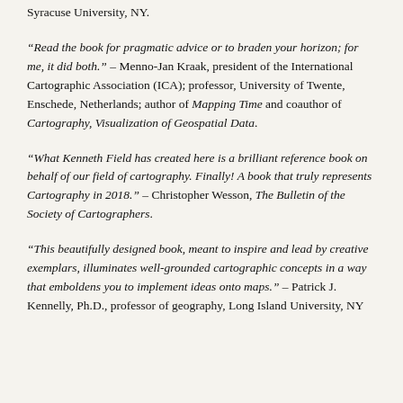Syracuse University, NY.
“Read the book for pragmatic advice or to braden your horizon; for me, it did both.” – Menno-Jan Kraak, president of the International Cartographic Association (ICA); professor, University of Twente, Enschede, Netherlands; author of Mapping Time and coauthor of Cartography, Visualization of Geospatial Data.
“What Kenneth Field has created here is a brilliant reference book on behalf of our field of cartography. Finally! A book that truly represents Cartography in 2018.” – Christopher Wesson, The Bulletin of the Society of Cartographers.
“This beautifully designed book, meant to inspire and lead by creative exemplars, illuminates well-grounded cartographic concepts in a way that emboldens you to implement ideas onto maps.” – Patrick J. Kennelly, Ph.D., professor of geography, Long Island University, NY